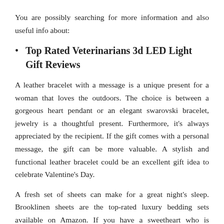You are possibly searching for more information and also useful info about:
Top Rated Veterinarians 3d LED Light Gift Reviews
A leather bracelet with a message is a unique present for a woman that loves the outdoors. The choice is between a gorgeous heart pendant or an elegant swarovski bracelet, jewelry is a thoughtful present. Furthermore, it's always appreciated by the recipient. If the gift comes with a personal message, the gift can be more valuable. A stylish and functional leather bracelet could be an excellent gift idea to celebrate Valentine's Day.
A fresh set of sheets can make for a great night's sleep. Brooklinen sheets are the top-rated luxury bedding sets available on Amazon. If you have a sweetheart who is passionate about food, then a kitchen appliance can be the